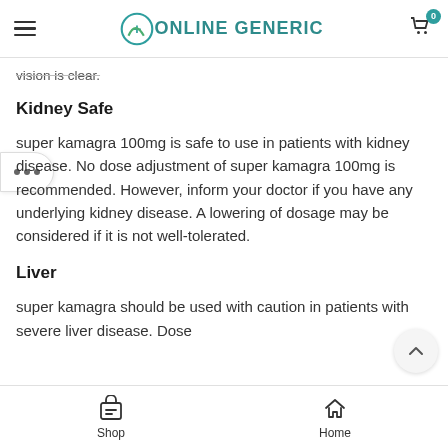Online Generic
vision is clear.
Kidney Safe
super kamagra 100mg is safe to use in patients with kidney disease. No dose adjustment of super kamagra 100mg is recommended. However, inform your doctor if you have any underlying kidney disease. A lowering of dosage may be considered if it is not well-tolerated.
Liver
super kamagra should be used with caution in patients with severe liver disease. Dose